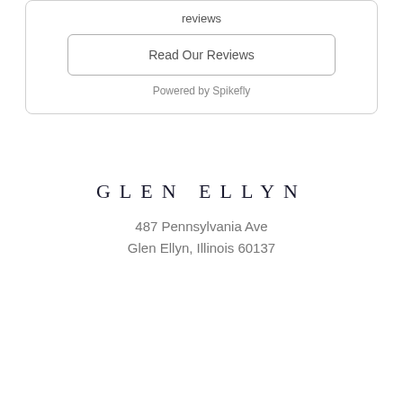reviews
Read Our Reviews
Powered by Spikefly
GLEN ELLYN
487 Pennsylvania Ave
Glen Ellyn, Illinois 60137